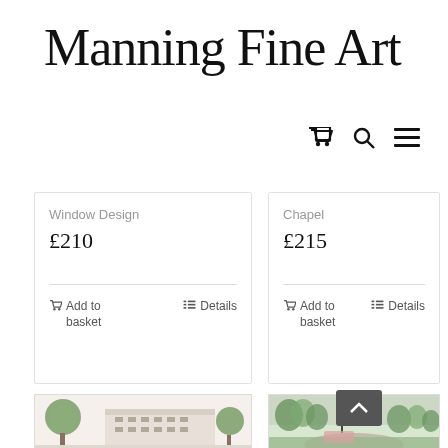Manning Fine Art
Window Design £210 — Add to basket — Details
Chapel £215 — Add to basket — Details
[Figure (illustration): Architectural drawing of a building facade with trees]
[Figure (illustration): Watercolour landscape scene with trees and road]